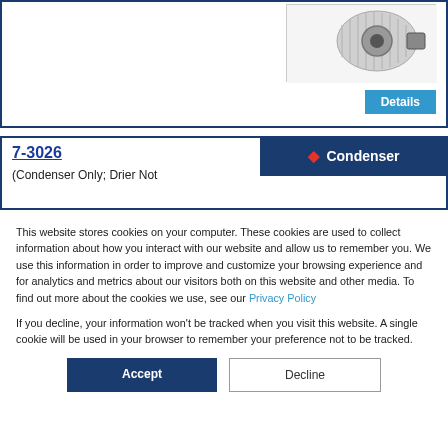[Figure (photo): Product photo of a condenser component, showing a cylindrical motor/fan assembly with fins]
Details
7-3026
(Condenser Only; Drier Not
Condenser
This website stores cookies on your computer. These cookies are used to collect information about how you interact with our website and allow us to remember you. We use this information in order to improve and customize your browsing experience and for analytics and metrics about our visitors both on this website and other media. To find out more about the cookies we use, see our Privacy Policy
If you decline, your information won't be tracked when you visit this website. A single cookie will be used in your browser to remember your preference not to be tracked.
Accept
Decline